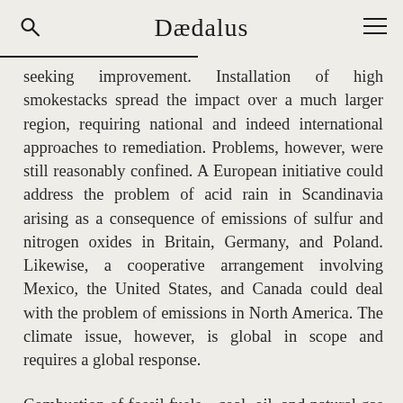Dædalus
seeking improvement. Installation of high smokestacks spread the impact over a much larger region, requiring national and indeed international approaches to remediation. Problems, however, were still reasonably confined. A European initiative could address the problem of acid rain in Scandinavia arising as a consequence of emissions of sulfur and nitrogen oxides in Britain, Germany, and Poland. Likewise, a cooperative arrangement involving Mexico, the United States, and Canada could deal with the problem of emissions in North America. The climate issue, however, is global in scope and requires a global response.
Combustion of fossil fuels—coal, oil, and natural gas—accounts today for global emission of carbon